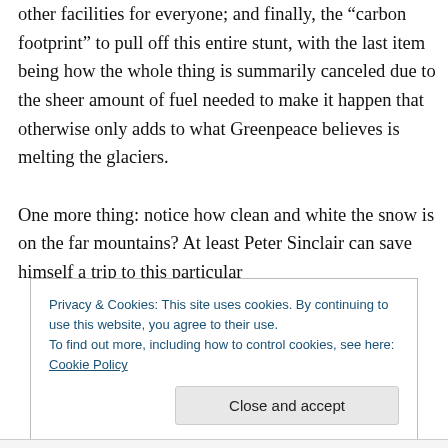other facilities for everyone; and finally, the “carbon footprint” to pull off this entire stunt, with the last item being how the whole thing is summarily canceled due to the sheer amount of fuel needed to make it happen that otherwise only adds to what Greenpeace believes is melting the glaciers.

One more thing: notice how clean and white the snow is on the far mountains? At least Peter Sinclair can save himself a trip to this particular
Privacy & Cookies: This site uses cookies. By continuing to use this website, you agree to their use.
To find out more, including how to control cookies, see here: Cookie Policy